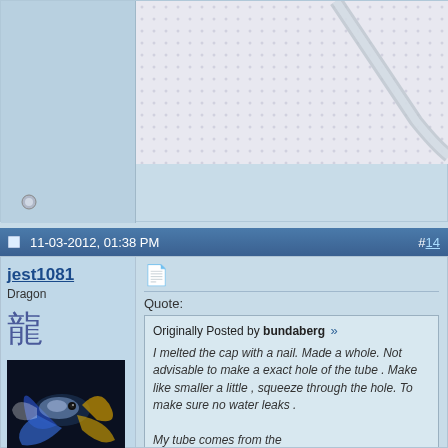[Figure (photo): Close-up photo of a dotted white fabric/mat surface with a clear curved tube or hose visible in the upper right]
11-03-2012, 01:38 PM   #14
jest1081
Dragon
[Figure (photo): Photo of a colorful betta fish (blue, white, yellow) against a dark background]
Join Date: May 2010
Posts: 2,063
Quote:
Originally Posted by bundaberg
I melted the cap with a nail. Made a whole. Not advisable to make a exact hole of the tube . Make like smaller a little , squeeze through the hole. To make sure no water leaks .

My tube comes from the